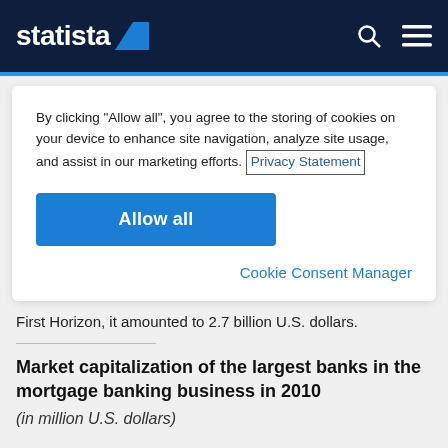statista
By clicking “Allow all”, you agree to the storing of cookies on your device to enhance site navigation, analyze site usage, and assist in our marketing efforts. Privacy Statement
Allow all
Cookie Consent Manager
First Horizon, it amounted to 2.7 billion U.S. dollars.
Market capitalization of the largest banks in the mortgage banking business in 2010
(in million U.S. dollars)